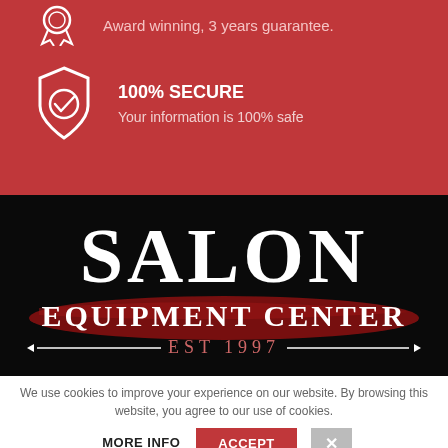Award winning, 3 years guarantee.
100% SECURE
Your information is 100% safe
[Figure (logo): Salon Equipment Center EST 1997 logo on black background]
We use cookies to improve your experience on our website. By browsing this website, you agree to our use of cookies.
MORE INFO
ACCEPT